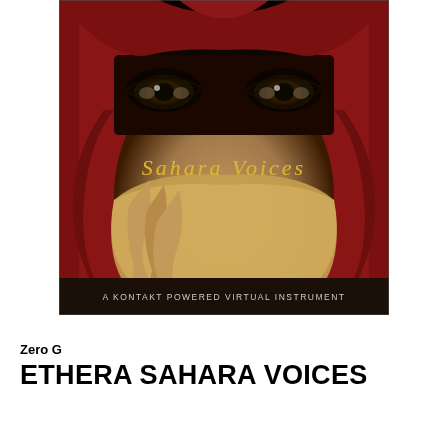[Figure (illustration): Album cover art for 'Sahara Voices' showing a woman's eyes above a yellow/gold veil with red fabric/headscarf. Text 'Sahara Voices' overlaid on the image in golden script. Bottom bar reads 'A KONTAKT POWERED VIRTUAL INSTRUMENT' on dark background.]
Zero G
ETHERA SAHARA VOICES